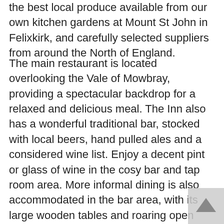the best local produce available from our own kitchen gardens at Mount St John in Felixkirk, and carefully selected suppliers from around the North of England.
The main restaurant is located overlooking the Vale of Mowbray, providing a spectacular backdrop for a relaxed and delicious meal. The Inn also has a wonderful traditional bar, stocked with local beers, hand pulled ales and a considered wine list. Enjoy a decent pint or glass of wine in the cosy bar and tap room area. More informal dining is also accommodated in the bar area, with its large wooden tables and roaring open fires, whilst the gardens are a great spot for al fresco dining in the warmer months. Why not join us for our lunch & early doors menu, to taste our seven scrumptious new dishes! Each one of these dishes has been made with the finest locally sourced produce. From the freshest and lightest pappardelle pasta to the irresistibly comforting beef shin cottage pie. Each one of these scrumptious dishes is at the fantastic price of £7.95!  This fantastic